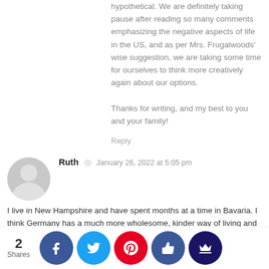hypothetical. We are definitely taking pause after reading so many comments emphasizing the negative aspects of life in the US, and as per Mrs. Frugalwoods' wise suggestion, we are taking some time for ourselves to think more creatively again about our options.
Thanks for writing, and my best to you and your family!
Reply
Ruth  ◎  January 26, 2022 at 5:05 pm
I live in New Hampshire and have spent months at a time in Bavaria. I think Germany has a much more wholesome, kinder way of living and that would be my personal focus. In considering New England, I would take New Hampshire off the list and consider Vermont or Maine. Best of luck to you, you live in an incredible area of the world!
Reply
Jane  ◎  January 28, 2022 at 9:50 am
Hi Ruth! Thanks for writing. That's interesting to hear – why you rec... d taki... Hamps... the lis... e some...tion m...out its... for us,...
[Figure (infographic): Social share bar with 2 Shares count and Facebook, Twitter, Pinterest, Thumbs-up, and Crown social sharing buttons]